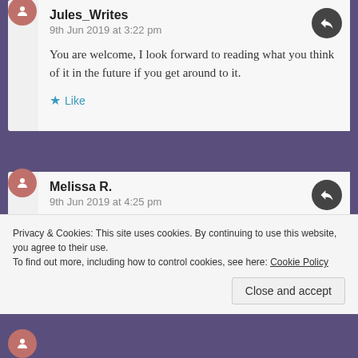Jules_Writes
9th Jun 2019 at 3:22 pm

You are welcome, I look forward to reading what you think of it in the future if you get around to it.

★ Like
Melissa R.
9th Jun 2019 at 4:25 pm

I'm really glad you reviewed this book. It's one I've been thinking about adding to my own TBR list but
Privacy & Cookies: This site uses cookies. By continuing to use this website, you agree to their use.
To find out more, including how to control cookies, see here: Cookie Policy
Close and accept